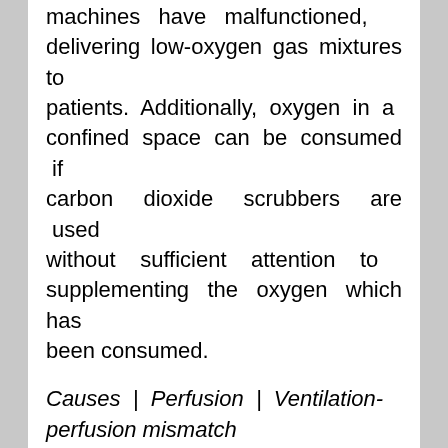machines have malfunctioned, delivering low-oxygen gas mixtures to patients. Additionally, oxygen in a confined space can be consumed if carbon dioxide scrubbers are used without sufficient attention to supplementing the oxygen which has been consumed.
Causes | Perfusion | Ventilation-perfusion mismatch
This refers to a disruption in the ventilation/perfusion equilibrium. Oxygen entering the lungs typically diffuses across the alveolar-capillary membrane into blood. However this equilibration does not occur when the alveolus is insufficiently ventilated, and as a consequence the blood exiting the alveolus is relatively low in oxygen.